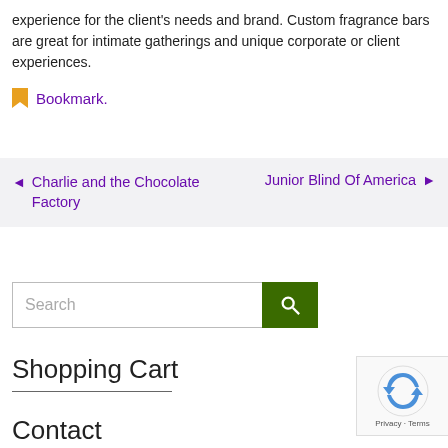experience for the client's needs and brand. Custom fragrance bars are great for intimate gatherings and unique corporate or client experiences.
Bookmark.
◄  Charlie and the Chocolate Factory    Junior Blind Of America  ►
Search
Shopping Cart
Contact